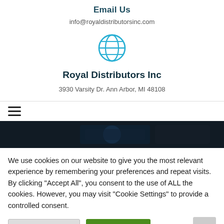Email Us
info@royaldistributorsinc.com
[Figure (illustration): Globe/world icon in blue outline style]
Royal Distributors Inc
3930 Varsity Dr. Ann Arbor, MI 48108
[Figure (screenshot): Dark dashboard/cockpit hero image banner]
We use cookies on our website to give you the most relevant experience by remembering your preferences and repeat visits. By clicking "Accept All", you consent to the use of ALL the cookies. However, you may visit "Cookie Settings" to provide a controlled consent.
Cookie Settings | Accept All